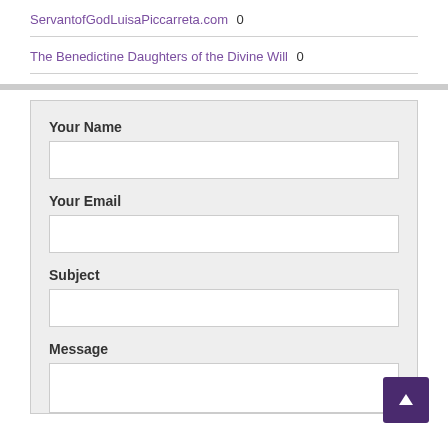ServantofGodLuisaPiccarreta.com 0
The Benedictine Daughters of the Divine Will 0
Your Name
Your Email
Subject
Message